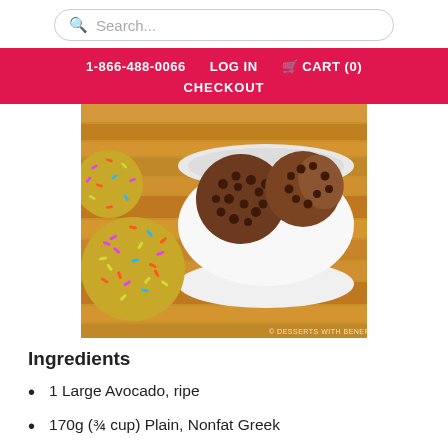Search...
1-866-488-0066  LOG IN  CART (0)  CHECKOUT
[Figure (photo): Chocolate chip cookie dough balls in a white bowl and a colorful sprinkle-covered treat on a wooden surface. Watermark: desserts with benefits.]
Ingredients
1 Large Avocado, ripe
170g (¾ cup) Plain, Nonfat Greek